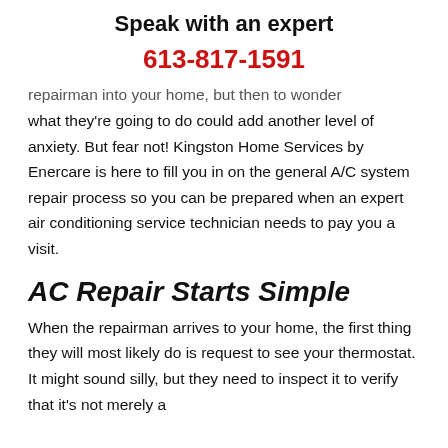Speak with an expert
613-817-1591
repairman into your home, but then to wonder what they're going to do could add another level of anxiety. But fear not! Kingston Home Services by Enercare is here to fill you in on the general A/C system repair process so you can be prepared when an expert air conditioning service technician needs to pay you a visit.
AC Repair Starts Simple
When the repairman arrives to your home, the first thing they will most likely do is request to see your thermostat. It might sound silly, but they need to inspect it to verify that it's not merely a